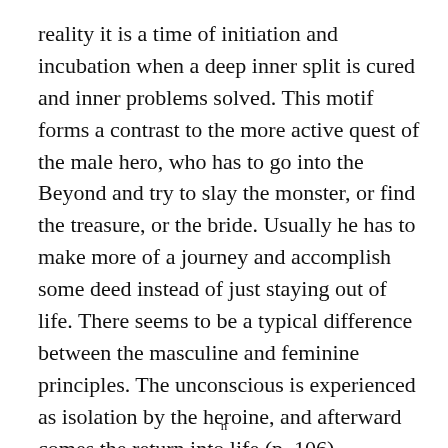reality it is a time of initiation and incubation when a deep inner split is cured and inner problems solved. This motif forms a contrast to the more active quest of the male hero, who has to go into the Beyond and try to slay the monster, or find the treasure, or the bride. Usually he has to make more of a journey and accomplish some deed instead of just staying out of life. There seems to be a typical difference between the masculine and feminine principles. The unconscious is experienced as isolation by the heroine, and afterward comes the return into life (p. 106).
n